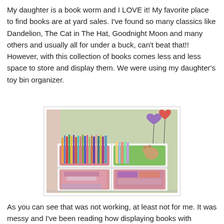My daughter is a book worm and I LOVE it!  My favorite place to find books are at yard sales.  I've found so many classics like Dandelion, The Cat in The Hat, Goodnight Moon and many others and usually all for under a buck, can't beat that!!  However, with this collection of books comes less and less space to store and display them.  We were using my daughter's toy bin organizer.
[Figure (photo): A toy bin organizer with multiple pink plastic bins. The top level bins contain many children's books standing upright and some items including a stuffed animal. The lower bins contain clothing, accessories, and other children's items. Heart-shaped balloons are visible in the upper right corner.]
As you can see that was not working, at least not for me.  It was messy and I've been reading how displaying books with